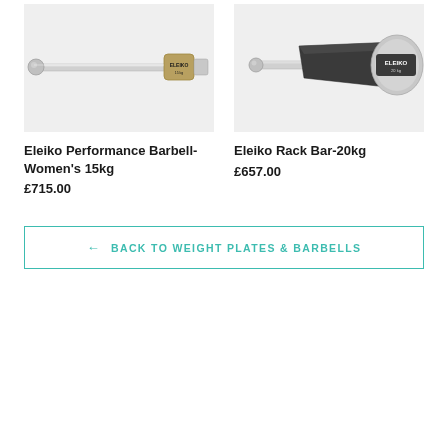[Figure (photo): Eleiko Performance Barbell - Women's 15kg product photo on light grey background, showing a chrome/silver barbell with gold collar end]
Eleiko Performance Barbell-Women's 15kg
£715.00
[Figure (photo): Eleiko Rack Bar-20kg product photo on light grey background, showing a close-up of the chrome end collar with black grip section and ELEIKO branding]
Eleiko Rack Bar-20kg
£657.00
← BACK TO WEIGHT PLATES & BARBELLS